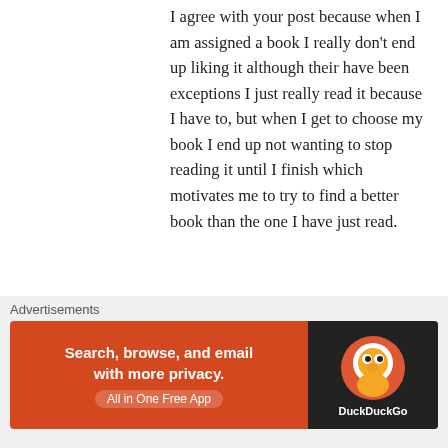I agree with your post because when I am assigned a book I really don't end up liking it although their have been exceptions I just really read it because I have to, but when I get to choose my book I end up not wanting to stop reading it until I finish which motivates me to try to find a better book than the one I have just read.
Liked by 1 person
Reply
Lisbeth Moralez Faustino on October 22, 2017 at 5:52 pm
Advertisements
[Figure (screenshot): DuckDuckGo advertisement banner: Search, browse, and email with more privacy. All in One Free App. DuckDuckGo logo on dark background.]